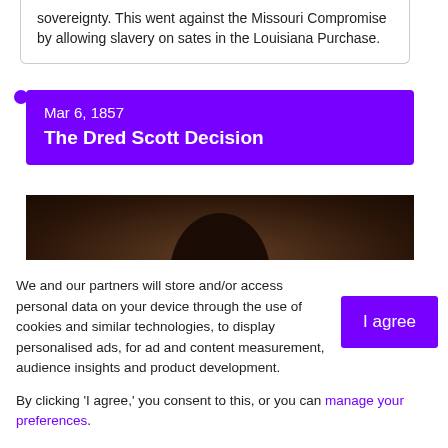sovereignty. This went against the Missouri Compromise by allowing slavery on sates in the Louisiana Purchase.
Mar 6, 1857
The Dred Scott Decision
[Figure (photo): Dark historical photograph or portrait, likely of Dred Scott, with dark brown tones]
We and our partners will store and/or access personal data on your device through the use of cookies and similar technologies, to display personalised ads, for ad and content measurement, audience insights and product development.
By clicking 'I agree,' you consent to this, or you can manage your preferences.